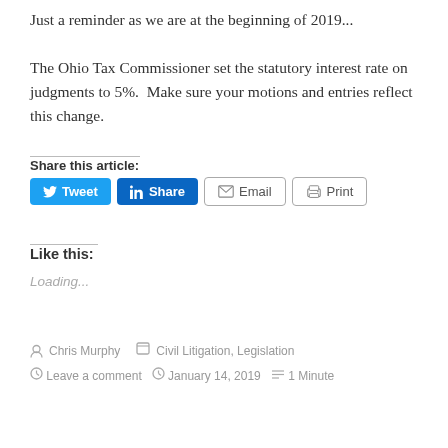Just a reminder as we are at the beginning of 2019... The Ohio Tax Commissioner set the statutory interest rate on judgments to 5%.  Make sure your motions and entries reflect this change.
Share this article:
[Figure (other): Social sharing buttons: Tweet (Twitter, blue), Share (LinkedIn, blue), Email (grey outline), Print (grey outline)]
Like this:
Loading...
Chris Murphy   Civil Litigation, Legislation   Leave a comment   January 14, 2019   1 Minute